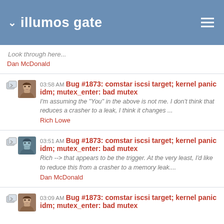illumos gate
Look through here...
Dan McDonald
03:58 AM Bug #1873: comstar iscsi target; kernel panic idm; mutex_enter: bad mutex
I'm assuming the "You" in the above is not me. I don't think that reduces a crasher to a leak, I think it changes ...
Rich Lowe
03:51 AM Bug #1873: comstar iscsi target; kernel panic idm; mutex_enter: bad mutex
Rich --> that appears to be the trigger. At the very least, I'd like to reduce this from a crasher to a memory leak....
Dan McDonald
03:09 AM Bug #1873: comstar iscsi target; kernel panic idm; mutex_enter: bad mutex